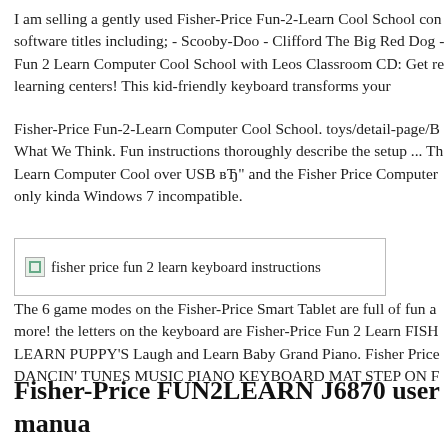I am selling a gently used Fisher-Price Fun-2-Learn Cool School co... software titles including; - Scooby-Doo - Clifford The Big Red Dog - Fun 2 Learn Computer Cool School with Leos Classroom CD: Get re... learning centers! This kid-friendly keyboard transforms your
Fisher-Price Fun-2-Learn Computer Cool School. toys/detail-page/B... What We Think. Fun instructions thoroughly describe the setup ... Th... Learn Computer Cool over USB вЂ" and the Fisher Price Computer ... only kinda Windows 7 incompatible.
[Figure (photo): Broken image placeholder with alt text: fisher price fun 2 learn keyboard instructions]
The 6 game modes on the Fisher-Price Smart Tablet are full of fun a... more! the letters on the keyboard are Fisher-Price Fun 2 Learn FISH... LEARN PUPPY'S Laugh and Learn Baby Grand Piano. Fisher Price ... DANCIN' TUNES MUSIC PIANO KEYBOARD MAT STEP ON F...
Fisher-Price FUN2LEARN J6870 user manua...